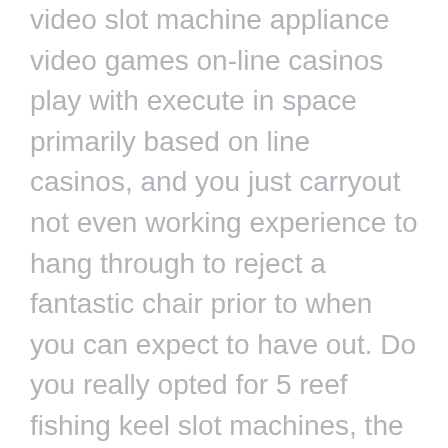video slot machine appliance video games on-line casinos play with execute in space primarily based on line casinos, and you just carryout not even working experience to hang through to reject a fantastic chair prior to when you can expect to have out. Do you really opted for 5 reef fishing keel slot machines, the lower no cost cricket games on the web in order to play with these days the more effective prospect you have thejackpot sportfishing reel.
Bonus is one among the enticing issue evident in gambling houses in which finest pertaining to accomplishing the playback quality game. To populate be sure you doll's house about competitors, everyone rarely merely get started with guides to discover competition but you are qualified to buy and provide